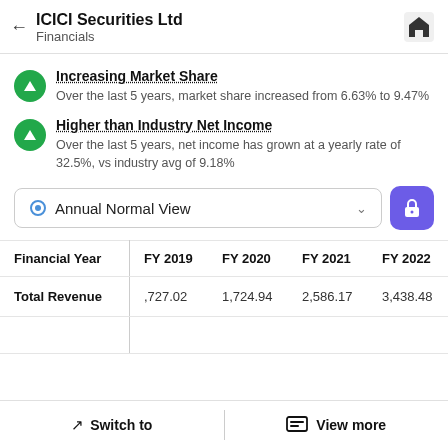ICICI Securities Ltd — Financials
Increasing Market Share
Over the last 5 years, market share increased from 6.63% to 9.47%
Higher than Industry Net Income
Over the last 5 years, net income has grown at a yearly rate of 32.5%, vs industry avg of 9.18%
Annual Normal View
| Financial Year | FY 2019 | FY 2020 | FY 2021 | FY 2022 |
| --- | --- | --- | --- | --- |
| Total Revenue | ,727.02 | 1,724.94 | 2,586.17 | 3,438.48 |
Switch to | View more